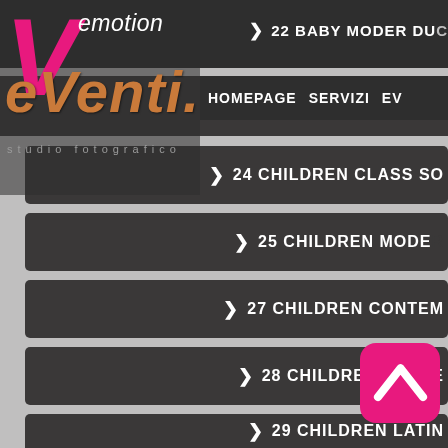[Figure (screenshot): Website screenshot of 'eVenti emotion studio fotografico' showing a navigation menu with dark rounded bars listing dance/children event categories numbered 22-31A, with a logo in the top left featuring pink and white stylized text, and a pink app icon overlay in the bottom right corner.]